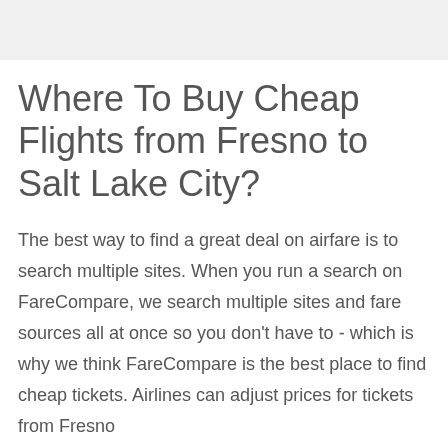Where To Buy Cheap Flights from Fresno to Salt Lake City?
The best way to find a great deal on airfare is to search multiple sites. When you run a search on FareCompare, we search multiple sites and fare sources all at once so you don't have to - which is why we think FareCompare is the best place to find cheap tickets. Airlines can adjust prices for tickets from Fresno